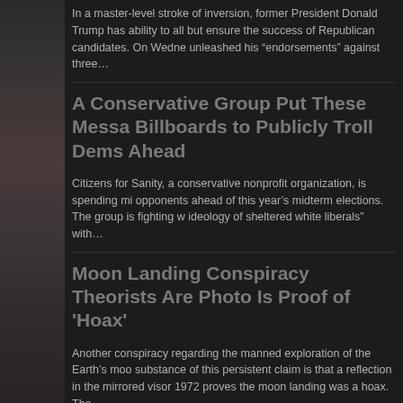In a master-level stroke of inversion, former President Donald Trump has ability to all but ensure the success of Republican candidates. On Wedne unleashed his “endorsements” against three…
A Conservative Group Put These Messa Billboards to Publicly Troll Dems Ahead
Citizens for Sanity, a conservative nonprofit organization, is spending mi opponents ahead of this year’s midterm elections. The group is fighting w ideology of sheltered white liberals” with…
Moon Landing Conspiracy Theorists Are Photo Is Proof of 'Hoax'
Another conspiracy regarding the manned exploration of the Earth’s moo substance of this persistent claim is that a reflection in the mirrored visor 1972 proves the moon landing was a hoax. The…
From Behind Bars: Salman Rushdie's A Finally Speaks, Admits He Is 'Surprised'
The alleged attacker of author Salman Rushdie has spoken out from the western New York. In an interview with the New York Post, Hadi Matar pr Iran. The late Ayatollah Ruhollah Khomeini, Iran’s…